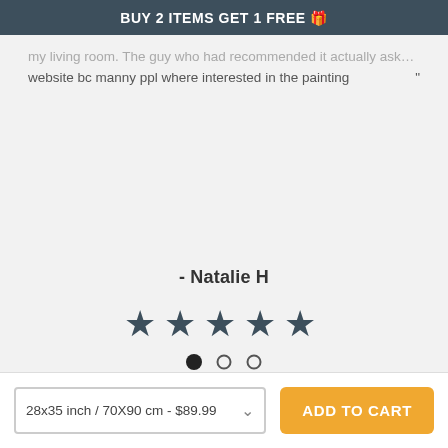BUY 2 ITEMS GET 1 FREE 🎁
...my living room. The guy who had recommended it actually asked for the website bc manny ppl where interested in the painting "
- Natalie H
[Figure (other): Five filled star rating icons in dark slate color]
[Figure (other): Carousel dots: one filled black dot and two empty circle dots]
28x35 inch / 70X90 cm - $89.99
ADD TO CART